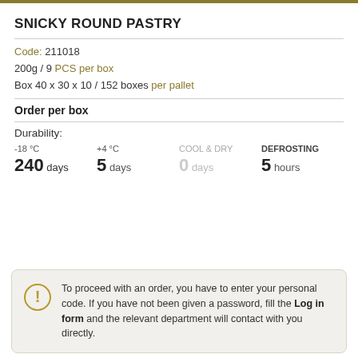SNICKY ROUND PASTRY
Code: 211018
200g / 9 PCS per box
Box 40 x 30 x 10 / 152 boxes per pallet
Order per box
Durability:
| -18 °C | +4 °C | COOL & DRY | DEFROSTING |
| --- | --- | --- | --- |
| 240 days | 5 days | 0 days | 5 hours |
To proceed with an order, you have to enter your personal code. If you have not been given a password, fill the Log in form and the relevant department will contact with you directly.